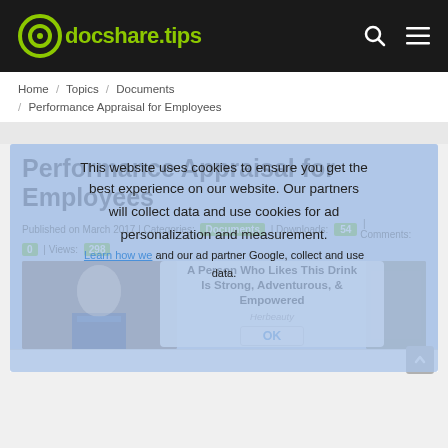docshare.tips
Home / Topics / Documents / Performance Appraisal for Employees
Performance Appraisal for Employees
Published on March 2017 | Categories: Documents | Downloads: 54 | Comments: 0 | Views: 298
This website uses cookies to ensure you get the best experience on our website. Our partners will collect data and use cookies for ad personalization and measurement. Learn how we and our ad partner Google, collect and use data.
[Figure (screenshot): Herbeauty advertisement popup with title 'A Person Who Likes This Drink Is Strong, Adventurous, & Empowered', source label 'Herbeauty', and an OK button]
[Figure (photo): Woman in uniform (appears to be a flight attendant)]